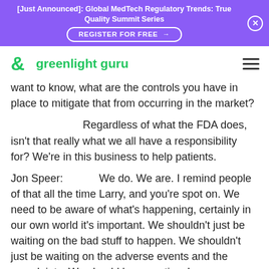[Just Announced]: Global MedTech Regulatory Trends: True Quality Summit Series
REGISTER FOR FREE →
[Figure (logo): Greenlight Guru logo with green stylized G icon and text 'greenlight guru' in green]
want to know, what are the controls you have in place to mitigate that from occurring in the market?
Regardless of what the FDA does, isn't that really what we all have a responsibility for? We're in this business to help patients.
Jon Speer:          We do. We are. I remind people of that all the time Larry, and you're spot on. We need to be aware of what's happening, certainly in our own world it's important. We shouldn't just be waiting on the bad stuff to happen. We shouldn't just be waiting on the adverse events and the complaints. We should be proactive. I